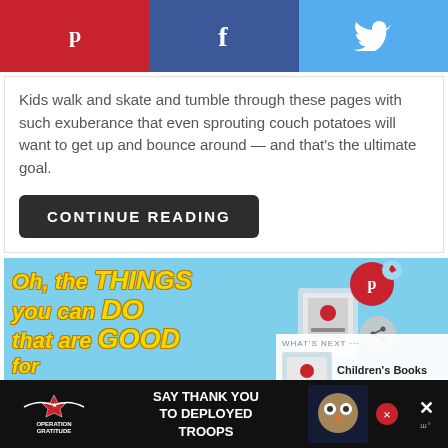[Figure (screenshot): Social sharing buttons bar with Pinterest (red), Facebook (dark blue), and Twitter (light blue) icons]
Kids walk and skate and tumble through these pages with such exuberance that even sprouting couch potatoes will want to get up and bounce around — and that's the ultimate goal.
CONTINUE READING
[Figure (illustration): Book cover image showing 'Oh, the THINGS you can DO that are GOOD...' in yellow text on light blue background, with Cat in the Hat character and book imagery on the right side. Pinterest overlay button and share button visible. 'What's Next' panel showing Children's Books About... with book thumbnail.]
[Figure (screenshot): Operation Gratitude advertisement: 'SAY THANK YOU TO DEPLOYED TROOPS' with owl mascot graphic and close button]